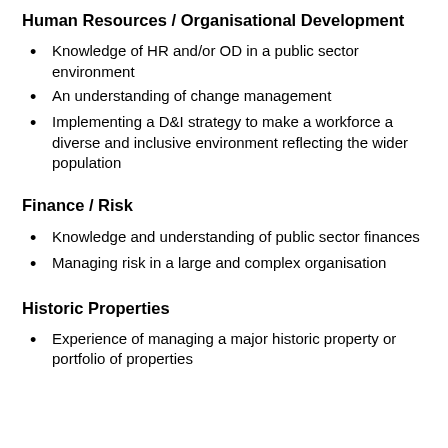Human Resources / Organisational Development
Knowledge of HR and/or OD in a public sector environment
An understanding of change management
Implementing a D&I strategy to make a workforce a diverse and inclusive environment reflecting the wider population
Finance / Risk
Knowledge and understanding of public sector finances
Managing risk in a large and complex organisation
Historic Properties
Experience of managing a major historic property or portfolio of properties